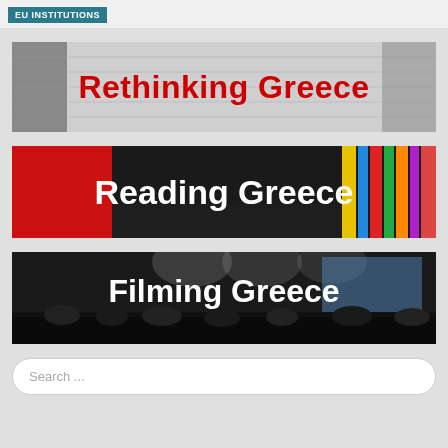EU INSTITUTIONS
[Figure (illustration): Banner image with text 'Rethinking Greece' in red on a black and white background]
[Figure (illustration): Banner image with text 'Reading Greece' in white on a dark red and black background with colorful book covers]
[Figure (illustration): Banner image with text 'Filming Greece' in white over a dark auditorium scene with a screen in the background]
Search ...